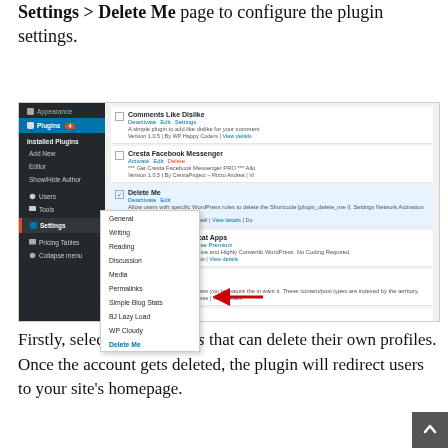Settings > Delete Me page to configure the plugin settings.
[Figure (screenshot): WordPress admin panel showing the Plugins page with Settings menu expanded, highlighting 'Delete Me' option with a red arrow. Shows sidebar with Appearance, Plugins, Users, Tools, Settings (highlighted), Pricing Tables, Collapse menu. Settings dropdown shows General, Writing, Reading, Discussion, Media, Permalinks, Simple Blog Stats, BJ Lazy Load, WP Cloudy, Delete Me. Right panel shows installed plugins: Comments Like Dislike, Cresta Facebook Messenger, Delete Me (checked/active), Pricing Tables by Fatcat Apps, Content Types, and a favorites post plugin.]
Firstly, select the user roles that can delete their own profiles. Once the account gets deleted, the plugin will redirect users to your site's homepage.